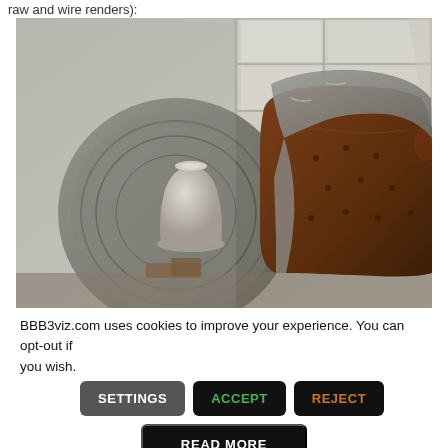raw and wire renders):
[Figure (photo): Interior scene with a brown leather Chesterfield armchair with a grey draped blanket, a white ceramic vase, a large decorative metallic plate/disc, and a wooden window in the background letting in natural light.]
BBB3viz.com uses cookies to improve your experience. You can opt-out if you wish.
SETTINGS  ACCEPT  REJECT
READ MORE